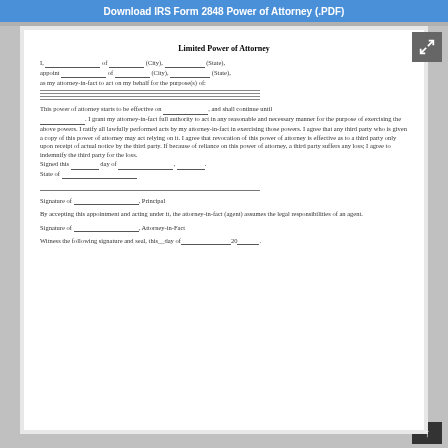Download IRS Form 2848 Power of Attorney (.PDF)
Limited Power of Attorney
I, ________ of ________ (City), ________ (State), appoint ________ of ________ (City), ________ (State), as my attorney-in-fact to act on my behalf for the purpose(s) of:
This power of attorney starts to be effective on ________, and shall continue until ________. I grant my attorney-in-fact full authority to act in any reasonable and necessary manner for the purpose of exercising the above powers. I ratify all lawfully performed acts by my attorney-in-fact in exercising those powers. I agree that any third party who is given a copy of this power of attorney may act relying on it. I agree that revocation of this power of attorney is effective as to a third party only upon receipt of actual notice by the third party. If because of reliance on this power of attorney, a third party suffers any loss; I agree to indemnify the third party for the loss.
Signed this ________ day of ________, ________.
State of ________
Signature of ________, Principal
By accepting this appointment and acting under it, the attorney-in-fact (agent) assumes the legal responsibilities of an agent.
Signature of ________, Attorney-in-Fact
Witness the following signature and seal, this__day of________20______.